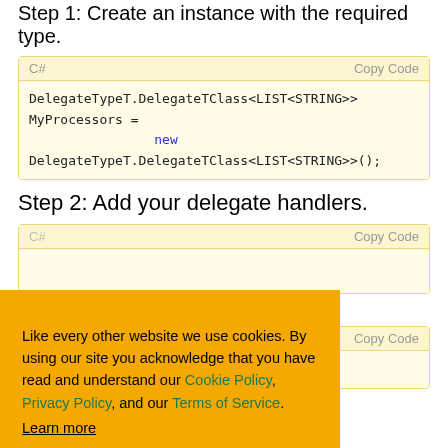Step 1: Create an instance with the required type.
C#   Copy Code
DelegateTypeT.DelegateTClass<LIST<STRING>>
MyProcessors =
                new
DelegateTypeT.DelegateTClass<LIST<STRING>>();
Step 2: Add your delegate handlers.
C#  Copy Code
...es.
Copy Code
);
Like every other website we use cookies. By using our site you acknowledge that you have read and understand our Cookie Policy, Privacy Policy, and our Terms of Service.
Learn more
And that is all there is to it!